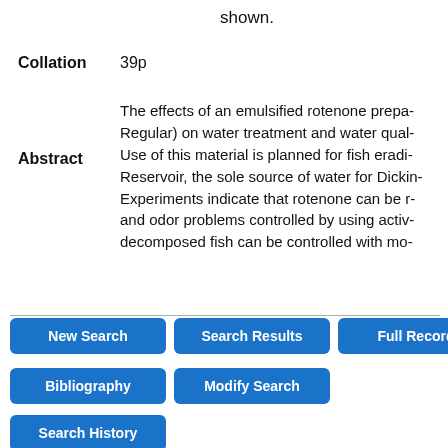shown.
Collation   39p
Abstract   The effects of an emulsified rotenone prepa- Regular) on water treatment and water qual- Use of this material is planned for fish eradi- Reservoir, the sole source of water for Dickin- Experiments indicate that rotenone can be r- and odor problems controlled by using activ- decomposed fish can be controlled with mo-
New Search
Search Results
Full Record
Bibliography
Modify Search
Search History